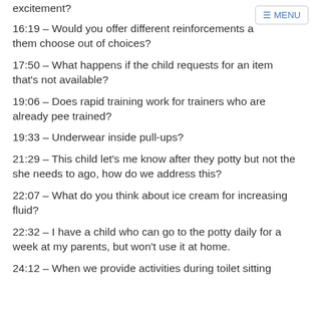excitement?
16:19 – Would you offer different reinforcements and let them choose out of choices?
17:50 – What happens if the child requests for an item that's not available?
19:06 – Does rapid training work for trainers who are already pee trained?
19:33 – Underwear inside pull-ups?
21:29 – This child let's me know after they potty but not the she needs to ago, how do we address this?
22:07 – What do you think about ice cream for increasing fluid?
22:32 – I have a child who can go to the potty daily for a week at my parents, but won't use it at home.
24:12 – When we provide activities during toilet sitting